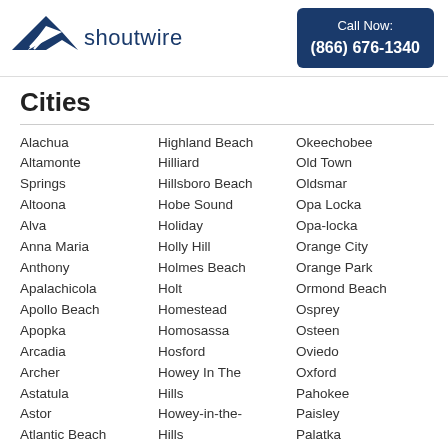[Figure (logo): Shoutwire logo with blue wing/arrow graphic and text 'shoutwire']
Call Now: (866) 676-1340
Cities
Alachua
Altamonte Springs
Altoona
Alva
Anna Maria
Anthony
Apalachicola
Apollo Beach
Apopka
Arcadia
Archer
Astatula
Astor
Atlantic Beach
Atlantis
Auburndale
Highland Beach
Hilliard
Hillsboro Beach
Hobe Sound
Holiday
Holly Hill
Holmes Beach
Holt
Homestead
Homosassa
Hosford
Howey In The Hills
Howey-in-the-Hills
Hudson
Hurlburt Field
Okeechobee
Old Town
Oldsmar
Opa Locka
Opa-locka
Orange City
Orange Park
Ormond Beach
Osprey
Osteen
Oviedo
Oxford
Pahokee
Paisley
Palatka
Palm Beach
Palm Beach